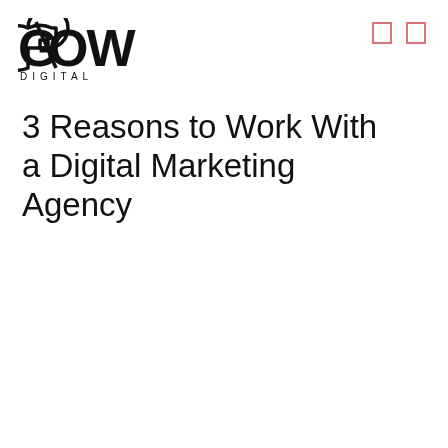GLOW DIGITAL
3 Reasons to Work With a Digital Marketing Agency